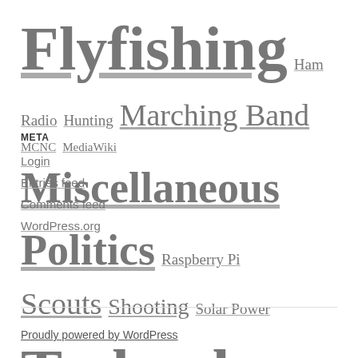Flyfishing Ham Radio Hunting Marching Band MCNC MediaWiki Miscellaneous Politics Raspberry Pi Scouts Shooting Solar Power Technology Travel UNC UNC-A UNC-G Uncategorized Virginia Tech Wine WordPress
META
Login
Entries feed
Comments feed
WordPress.org
Proudly powered by WordPress